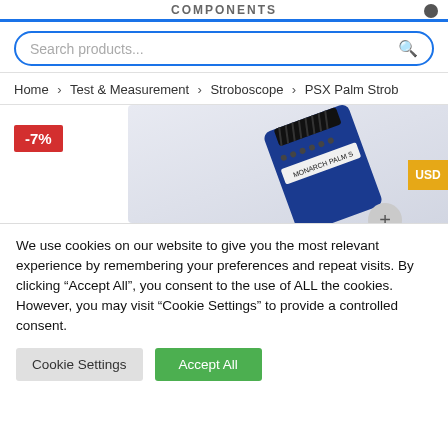COMPONENTS
Search products...
Home > Test & Measurement > Stroboscope > PSX Palm Strob
[Figure (photo): Product image of Monarch Palm stroboscope device shown at an angle, with -7% discount badge, USD currency badge, and a plus button]
We use cookies on our website to give you the most relevant experience by remembering your preferences and repeat visits. By clicking "Accept All", you consent to the use of ALL the cookies. However, you may visit "Cookie Settings" to provide a controlled consent.
Cookie Settings   Accept All